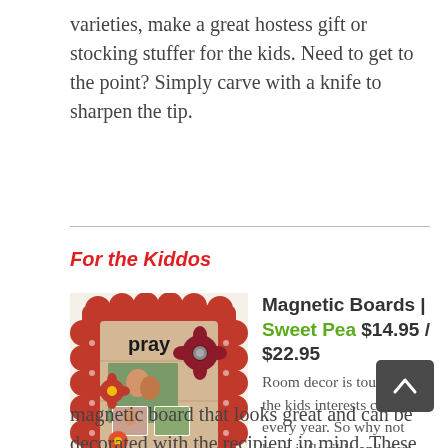varieties, make a great hostess gift or stocking stuffer for the kids. Need to get to the point? Simply carve with a knife to sharpen the tip.
For the Kiddos
[Figure (photo): A red scalloped magnetic board decorated with flowers and photos, with the word 'pray' on it.]
Magnetic Boards | Sweet Pea $14.95 / $22.95 Room decor is tough when the kids interests change every year. So why not keep it flexible and give them a magnetic board that looks great and can be decorated with the recipient in mind. These